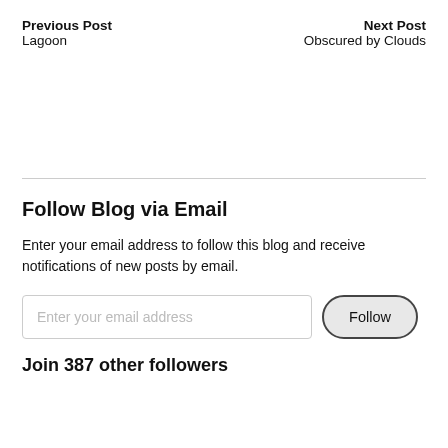Previous Post
Lagoon
Next Post
Obscured by Clouds
Follow Blog via Email
Enter your email address to follow this blog and receive notifications of new posts by email.
Join 387 other followers